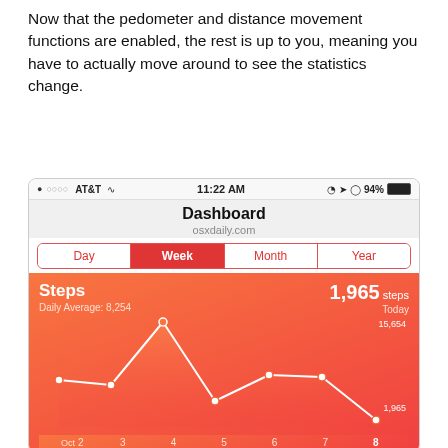Now that the pedometer and distance movement functions are enabled, the rest is up to you, meaning you have to actually move around to see the statistics change.
[Figure (screenshot): iPhone screenshot showing Health app Dashboard with Steps chart for the week of Oct 2-8. Status bar shows AT&T carrier, 11:22 AM, 94% battery. Dashboard tab bar shows Day/Week/Month/Year with Week selected. Steps card shows 1,965 steps today, Daily Average: 8,254, with a line chart showing values from Oct 2-8. High of 15,654 on Oct 4, low of 1,965 on Oct 8.]